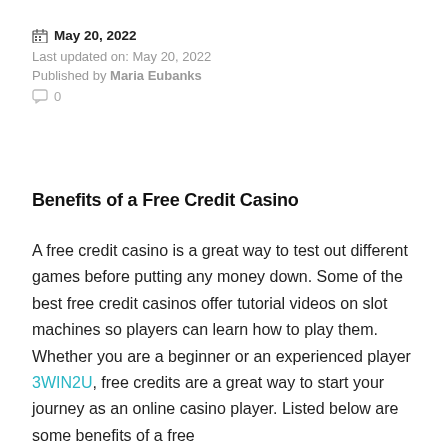May 20, 2022
Last updated on: May 20, 2022
Published by Maria Eubanks
0
Benefits of a Free Credit Casino
A free credit casino is a great way to test out different games before putting any money down. Some of the best free credit casinos offer tutorial videos on slot machines so players can learn how to play them. Whether you are a beginner or an experienced player 3WIN2U, free credits are a great way to start your journey as an online casino player. Listed below are some benefits of a free